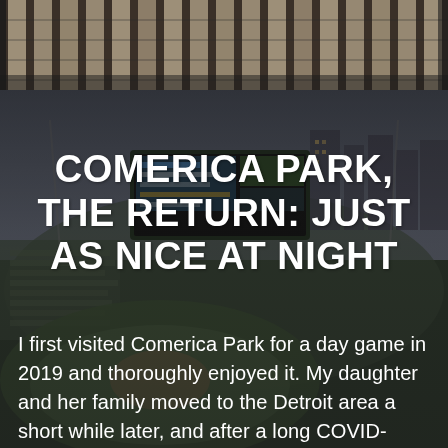[Figure (photo): Close-up of brick building facade with vertical architectural columns, dark tones]
[Figure (photo): Aerial/elevated view of Comerica Park baseball stadium at night, with scoreboard visible, city skyline in background, overlaid with semi-transparent dark layer]
COMERICA PARK, THE RETURN: JUST AS NICE AT NIGHT
I first visited Comerica Park for a day game in 2019 and thoroughly enjoyed it. My daughter and her family moved to the Detroit area a short while later, and after a long COVID-induced delay my wife and I finally got to see them in their new home this month. Being the great daughter she [...]